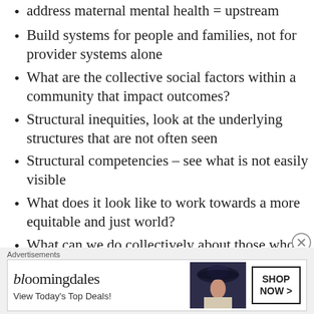address maternal mental health = upstream
Build systems for people and families, not for provider systems alone
What are the collective social factors within a community that impact outcomes?
Structural inequities, look at the underlying structures that are not often seen
Structural competencies – see what is not easily visible
What does it look like to work towards a more equitable and just world?
What can we do collectively about those who are socially marginalized?
Solution finding approach – look at